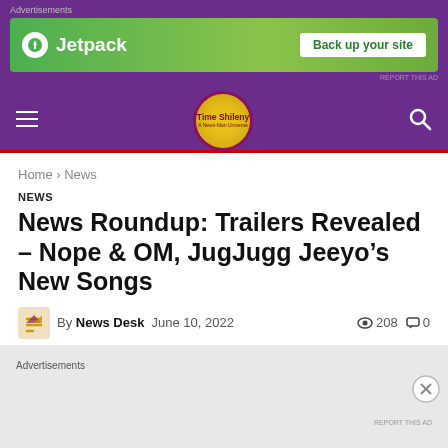Advertisements
[Figure (screenshot): Jetpack advertisement banner: green background with Jetpack logo and 'Back up your site' call-to-action button]
[Figure (logo): Time Shileny website logo: yellow circle with dark red text on purple navigation bar]
Home › News
NEWS
News Roundup: Trailers Revealed – Nope & OM, JugJugg Jeeyo's New Songs
By News Desk   June 10, 2022   208   0
Advertisements